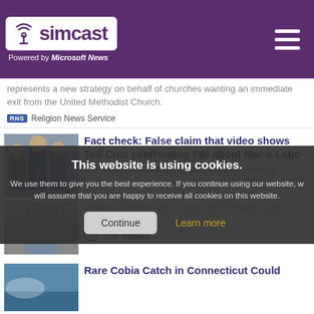[Figure (logo): Simcast logo with antenna icon, purple background, 'Powered by Microsoft News' tagline]
represents a new strategy on behalf of churches wanting an immediate exit from the United Methodist Church.
Religion News Service
[Figure (photo): Photo of politicians at press conference including Ted Cruz]
Fact check: False claim that video shows Ted Cruz confronting FBI about Mar-a-Lago
Video composed of Ted Cruz footage unrelated to
This website is using cookies. We use them to give you the best experience. If you continue using our website, we will assume that you are happy to receive all cookies on this website.
Continue
Learn more
offering a thrilling path to death with "elegance and euphoria."
The Manual
Rare Cobia Catch in Connecticut Could